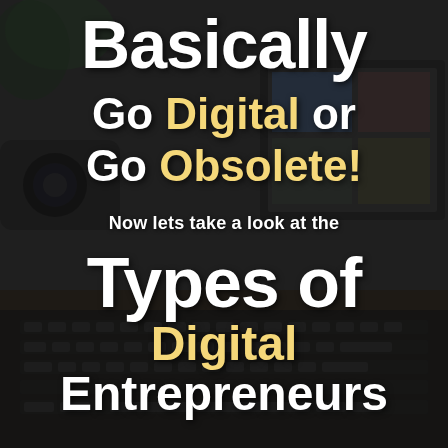[Figure (photo): Dark background photo of a laptop keyboard and screen with blurred desk items including a camera, on a dimmed/muted overlay]
Basically
Go Digital or Go Obsolete!
Now lets take a look at the
Types of Digital Entrepreneurs